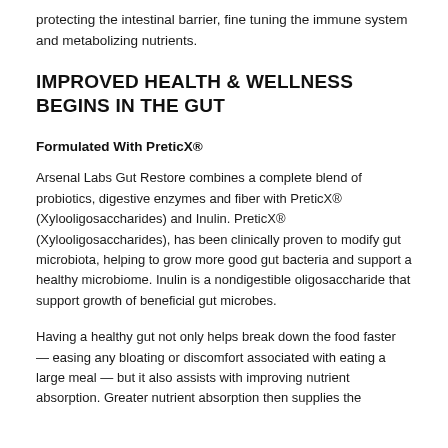protecting the intestinal barrier, fine tuning the immune system and metabolizing nutrients.
IMPROVED HEALTH & WELLNESS BEGINS IN THE GUT
Formulated With PreticX®
Arsenal Labs Gut Restore combines a complete blend of probiotics, digestive enzymes and fiber with PreticX® (Xylooligosaccharides) and Inulin. PreticX® (Xylooligosaccharides), has been clinically proven to modify gut microbiota, helping to grow more good gut bacteria and support a healthy microbiome. Inulin is a nondigestible oligosaccharide that support growth of beneficial gut microbes.
Having a healthy gut not only helps break down the food faster — easing any bloating or discomfort associated with eating a large meal — but it also assists with improving nutrient absorption. Greater nutrient absorption then supplies the